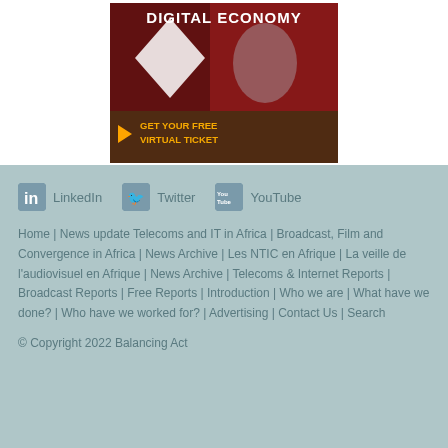[Figure (illustration): Digital Economy promotional banner with a woman's face profile, tech/AI graphics overlay, red/dark background at top, orange bottom section. Text: 'DIGITAL ECONOMY' at top in bold white, 'GET YOUR FREE VIRTUAL TICKET' in bold orange/white on dark band at bottom.]
[Figure (other): Social media icons and labels: LinkedIn (blue square icon with 'in'), Twitter (blue square icon with bird), YouTube (gray square icon with 'You Tube' logo)]
Home | News update Telecoms and IT in Africa | Broadcast, Film and Convergence in Africa | News Archive | Les NTIC en Afrique | La veille de l'audiovisuel en Afrique | News Archive | Telecoms & Internet Reports | Broadcast Reports | Free Reports | Introduction | Who we are | What have we done? | Who have we worked for? | Advertising | Contact Us | Search
© Copyright 2022 Balancing Act